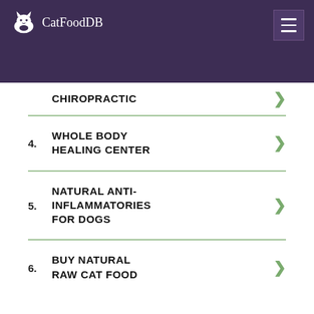[Figure (logo): CatFoodDB logo with white cat icon and text on purple header background]
CHIROPRACTIC
4. WHOLE BODY HEALING CENTER
5. NATURAL ANTI-INFLAMMATORIES FOR DOGS
6. BUY NATURAL RAW CAT FOOD